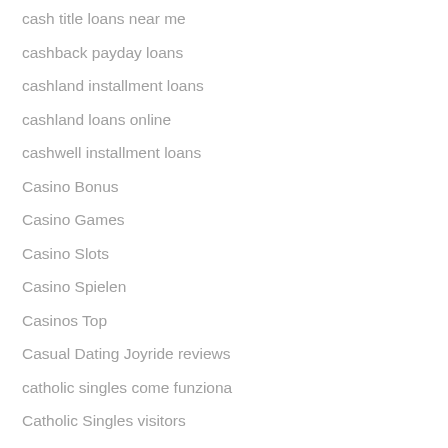cash title loans near me
cashback payday loans
cashland installment loans
cashland loans online
cashwell installment loans
Casino Bonus
Casino Games
Casino Slots
Casino Spielen
Casinos Top
Casual Dating Joyride reviews
catholic singles come funziona
Catholic Singles visitors
catholicmatch login
catholicmatch Nutzername